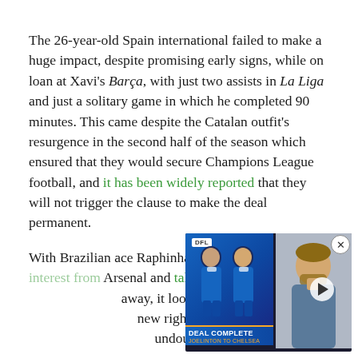The 26-year-old Spain international failed to make a huge impact, despite promising early signs, while on loan at Xavi's Barça, with just two assists in La Liga and just a solitary game in which he completed 90 minutes. This came despite the Catalan outfit's resurgence in the second half of the season which ensured that they would secure Champions League football, and it has been widely reported that they will not trigger the clause to make the deal permanent.
With Brazilian ace Raphinha reportedly rejecting interest from Arsenal and talks of a potential move to Juventus falling away, it looks likely that Jesse will be Chelsea's prime new right-winger to fill the huge void that Havertz will undoubtedly leave.
[Figure (screenshot): Video overlay thumbnail showing two footballers in blue Chelsea kit with 'DEAL COMPLETE' banner at bottom and a man speaking on the right side. Close button (X) in circle at top right of overlay.]